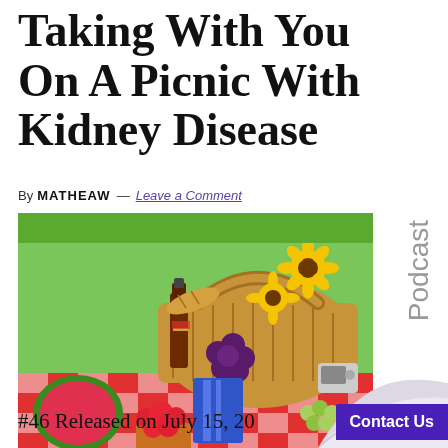Taking With You On A Picnic With Kidney Disease
By MATHEAW — Leave a Comment
[Figure (photo): A colorful picnic spread with a wicker basket, sunflowers, grapes, strawberries, watermelon, cheese, crackers, and wine on a red checkered blanket on green grass.]
Podcast
#46 Released on July 15, 20...
Contact Us